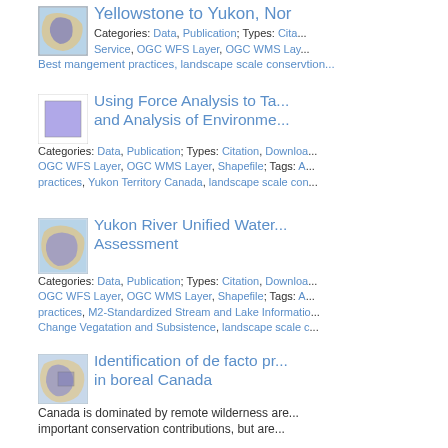[Figure (map): Thumbnail map of Yellowstone to Yukon region]
Yellowstone to Yukon, Nor...
Categories: Data, Publication; Types: Citation, Service, OGC WFS Layer, OGC WMS Layer...
Best mangement practices, landscape scale conservtion...
[Figure (illustration): Thumbnail purple square placeholder]
Using Force Analysis to Ta... and Analysis of Environme...
Categories: Data, Publication; Types: Citation, Download, OGC WFS Layer, OGC WMS Layer, Shapefile; Tags: A... practices, Yukon Territory Canada, landscape scale con...
[Figure (map): Thumbnail map of Yukon River region]
Yukon River Unified Water... Assessment
Categories: Data, Publication; Types: Citation, Download, OGC WFS Layer, OGC WMS Layer, Shapefile; Tags: A... practices, M2-Standardized Stream and Lake Informati... Change Vegatation and Subsistence, landscape scale c...
[Figure (map): Thumbnail map with purple overlay]
Identification of de facto pr... in boreal Canada
Canada is dominated by remote wilderness are... important conservation contributions, but are...